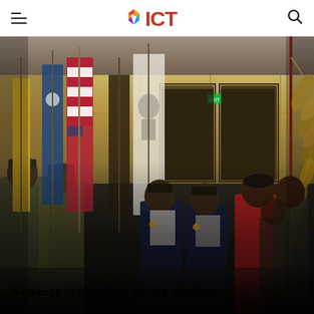ICT (Indian Country Today) navigation header with hamburger menu and search icon
[Figure (photo): A color guard and ceremony participants marching indoors, carrying the American flag, tribal flags, and a large feathered war bonnet on a staff. Several people in military uniforms and traditional Native American regalia are visible. The setting appears to be a convention center or hotel ballroom.]
A change in honoring, saying goodbye